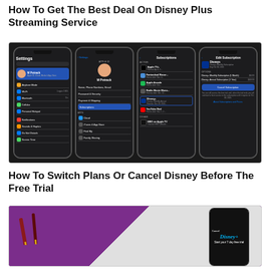How To Get The Best Deal On Disney Plus Streaming Service
[Figure (screenshot): Four iPhone screenshots showing steps to manage Disney+ subscription on iOS: Settings app profile row highlighted, Apple ID page with Subscriptions highlighted, Subscriptions list with Disney+ highlighted, and Edit Subscription page with Cancel Subscription button highlighted.]
How To Switch Plans Or Cancel Disney Before The Free Trial
[Figure (photo): Photo of two paint brushes on a purple background next to a smartphone displaying the Disney+ Start your 7 day free trial screen.]